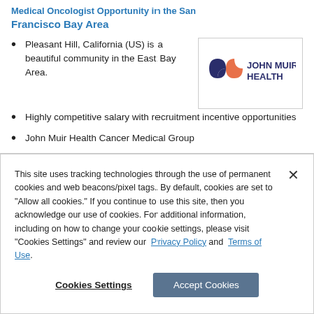Medical Oncologist Opportunity in the San Francisco Bay Area
Pleasant Hill, California (US) is a beautiful community in the East Bay Area.
[Figure (logo): John Muir Health logo — stylized blue and orange leaf/butterfly shape with bold dark blue text 'JOHN MUIR HEALTH']
Highly competitive salary with recruitment incentive opportunities
John Muir Health Cancer Medical Group
This site uses tracking technologies through the use of permanent cookies and web beacons/pixel tags. By default, cookies are set to "Allow all cookies." If you continue to use this site, then you acknowledge our use of cookies. For additional information, including on how to change your cookie settings, please visit "Cookies Settings" and review our Privacy Policy and Terms of Use.
Cookies Settings | Accept Cookies